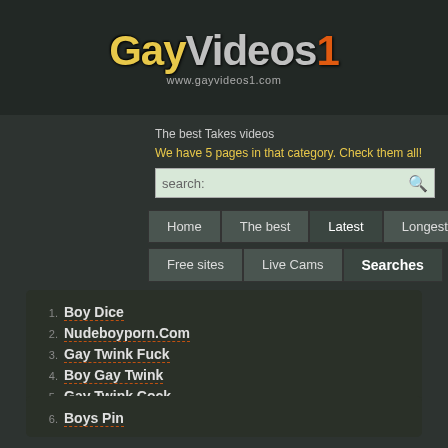[Figure (logo): GayVideos1 logo with URL www.gayvideos1.com]
The best Takes videos
We have 5 pages in that category. Check them all!
search:
Home | The best | Latest | Longest | Free sites | Live Cams | Searches
1. Boy Dice
2. Nudeboyporn.Com
3. Gay Twink Fuck
4. Boy Gay Twink
5. Gay Twink Cock
6. Boys Pin